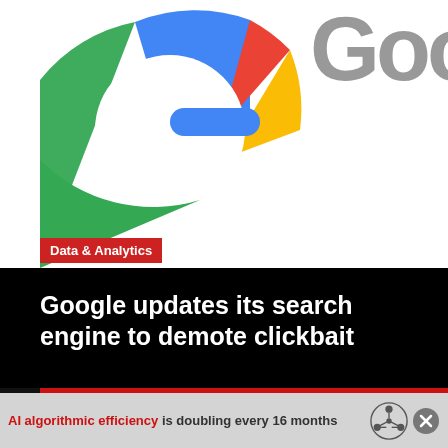[Figure (logo): Google logo cropped - colorful G and partial 'Googl' text visible on white background]
Data & Analytics
Google updates its search engine to demote clickbait
SUBSCRIBE
AI algorithmic efficiency is doubling every 16 months